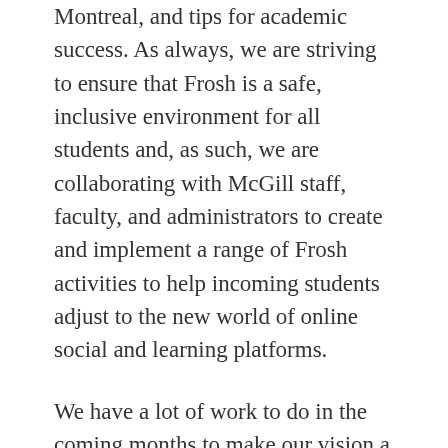Montreal, and tips for academic success. As always, we are striving to ensure that Frosh is a safe, inclusive environment for all students and, as such, we are collaborating with McGill staff, faculty, and administrators to create and implement a range of Frosh activities to help incoming students adjust to the new world of online social and learning platforms.
We have a lot of work to do in the coming months to make our vision a reality. We welcome your feedback and support as we continue to plan Frosh—please reach out to us through our faculty Frosh Facebook pages if you have any questions, suggestions, or concerns. In the meantime, we wish to remind the community about the values that make Frosh a success, and our unfaltering commitment to the